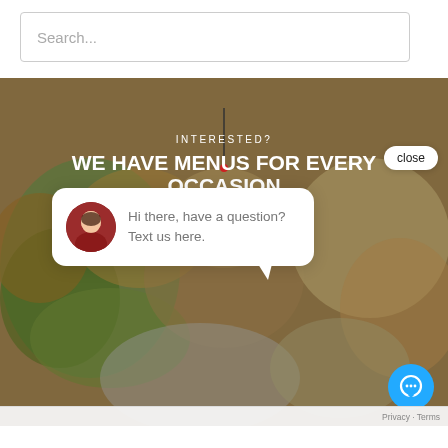Search...
[Figure (photo): Hero banner image of colorful catered food appetizers and hors d'oeuvres on white plates with garnishes, overlaid with text 'INTERESTED? WE HAVE MENUS FOR EVERY OCCASION']
INTERESTED?
WE HAVE MENUS FOR EVERY OCCASION
close
Hi there, have a question? Text us here.
[Figure (illustration): Blue circular chat button with speech bubble icon in bottom right corner]